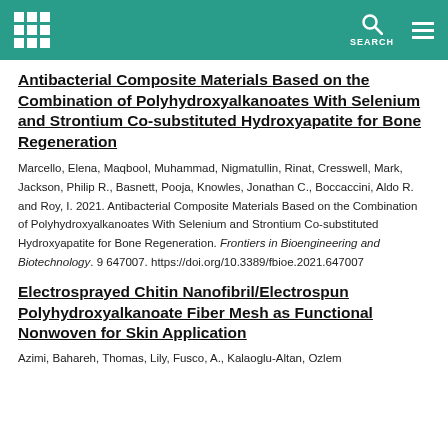[Navigation header with grid icon, SEARCH, and menu]
Antibacterial Composite Materials Based on the Combination of Polyhydroxyalkanoates With Selenium and Strontium Co-substituted Hydroxyapatite for Bone Regeneration
Marcello, Elena, Maqbool, Muhammad, Nigmatullin, Rinat, Cresswell, Mark, Jackson, Philip R., Basnett, Pooja, Knowles, Jonathan C., Boccaccini, Aldo R. and Roy, I. 2021. Antibacterial Composite Materials Based on the Combination of Polyhydroxyalkanoates With Selenium and Strontium Co-substituted Hydroxyapatite for Bone Regeneration. Frontiers in Bioengineering and Biotechnology. 9 647007. https://doi.org/10.3389/fbioe.2021.647007
Electrosprayed Chitin Nanofibril/Electrospun Polyhydroxyalkanoate Fiber Mesh as Functional Nonwoven for Skin Application
Azimi, Bahareh, Thomas, Lily, Fusco, A., Kalaoglu-Altan, Ozlem